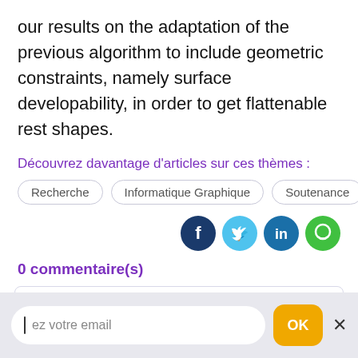our results on the adaptation of the previous algorithm to include geometric constraints, namely surface developability, in order to get flattenable rest shapes.
Découvrez davantage d'articles sur ces thèmes :
Recherche
Informatique Graphique
Soutenance
[Figure (infographic): Social media share icons: Facebook (dark blue), Twitter (light blue), LinkedIn (blue), Message (green)]
0 commentaire(s)
Renseignez votre nom
Renseignez votre adresse email